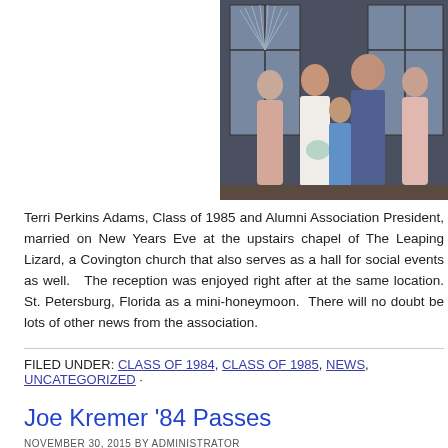[Figure (photo): Wedding photo showing a bride in white dress with bouquet, flanked by bridesmaids in pink dresses, a man in a blue suit, and a young boy in a blue shirt with pink bow tie, standing in front of stained glass windows.]
Terri Perkins Adams, Class of 1985 and Alumni Association President, married on New Years Eve at the upstairs chapel of The Leaping Lizard, a Covington church that also serves as a hall for social events as well.   The reception was enjoyed right after at the same location.  St. Petersburg, Florida as a mini-honeymoon.  There will no doubt be lots of other news from the association.
FILED UNDER: CLASS OF 1984, CLASS OF 1985, NEWS, UNCATEGORIZED ·
Joe Kremer '84 Passes
NOVEMBER 30, 2015 BY ADMINISTRATOR